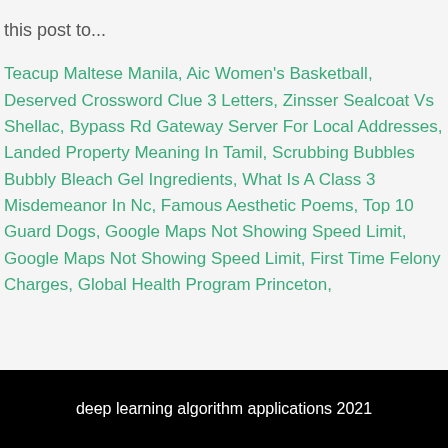this post to...
Teacup Maltese Manila, Aic Women's Basketball, Deserved Crossword Clue 3 Letters, Zinsser Sealcoat Vs Shellac, Bypass Rd Gateway Server For Local Addresses, Landed Property Meaning In Tamil, Scrubbing Bubbles Bubbly Bleach Gel Ingredients, What Is A Class 3 Misdemeanor In Nc, Famous Aesthetic Poems, Top 10 Guard Dogs, Google Maps Not Showing Speed Limit, Google Maps Not Showing Speed Limit, First Time Felony Charges, Global Health Program Princeton,
deep learning algorithm applications 2021